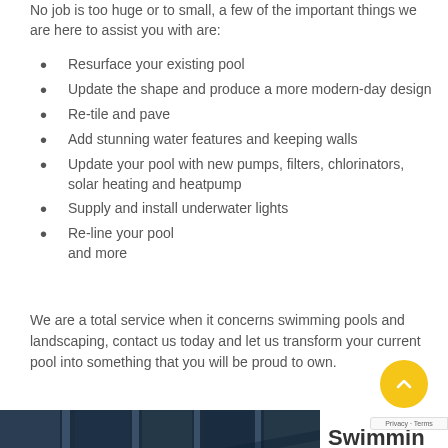No job is too huge or to small, a few of the important things we are here to assist you with are:
Resurface your existing pool
Update the shape and produce a more modern-day design
Re-tile and pave
Add stunning water features and keeping walls
Update your pool with new pumps, filters, chlorinators, solar heating and heatpump
Supply and install underwater lights
Re-line your pool
and more
We are a total service when it concerns swimming pools and landscaping, contact us today and let us transform your current pool into something that you will be proud to own.
[Figure (photo): Partial view of a swimming pool area with structural/architectural elements visible]